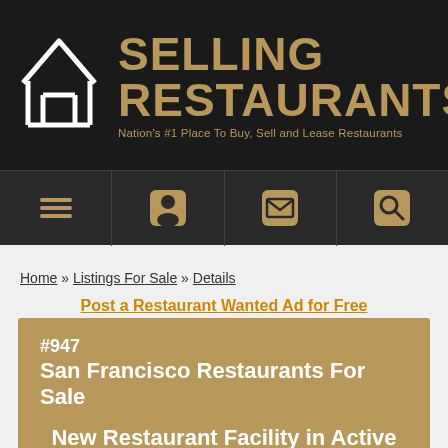[Figure (logo): Selling Restaurants logo with house/building icon and gold text on dark background, with tagline 'Nation's #1 Place To Buy, Sell and Lease Restaurants']
[Figure (other): Navigation bar with four icon buttons: hamburger menu, user profile, envelope/mail, and search magnifier, on dark background]
Home » Listings For Sale » Details
Post a Restaurant Wanted Ad for Free
#947
San Francisco Restaurants For Sale
New Restaurant Facility in Active Retirement Community